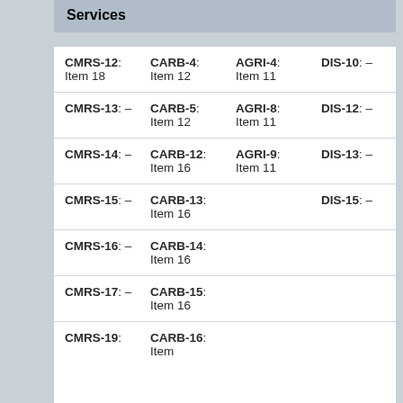Services
| CMRS-12: Item 18 | CARB-4: Item 12 | AGRI-4: Item 11 | DIS-10: – |
| CMRS-13: – | CARB-5: Item 12 | AGRI-8: Item 11 | DIS-12: – |
| CMRS-14: – | CARB-12: Item 16 | AGRI-9: Item 11 | DIS-13: – |
| CMRS-15: – | CARB-13: Item 16 |  | DIS-15: – |
| CMRS-16: – | CARB-14: Item 16 |  |  |
| CMRS-17: – | CARB-15: Item 16 |  |  |
| CMRS-19: | CARB-16: Item |  |  |